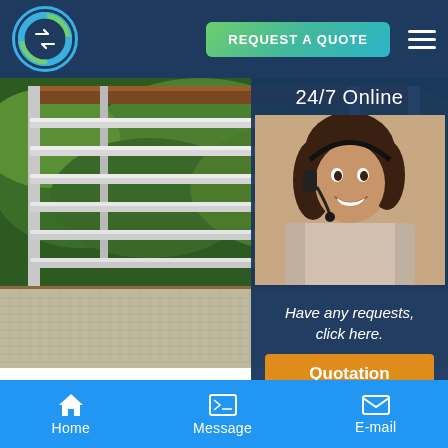[Figure (screenshot): Website header with company logo (green/blue circular icon), REQUEST A QUOTE button, and hamburger menu on dark navy background]
[Figure (photo): Photo of a balcony railing made of horizontal metal/aluminium bars with green foliage background and wooden deck flooring, with a 24/7 Online customer service panel overlay showing a smiling female agent with headset]
24/7 Online
Have any requests, click here.
Quotation
Home   Message   E-mail